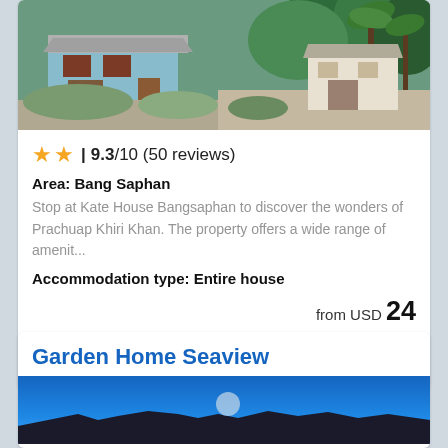[Figure (photo): Exterior of Kate House Bangsaphan property showing blue building with tropical trees and landscaping]
★★ | 9.3/10 (50 reviews)
Area: Bang Saphan
Stop at Kate House Bangsaphan to discover the wonders of Prachuap Khiri Khan. The property offers a wide range of amenit...
Accommodation type: Entire house
from USD 24
more details ...
Garden Home Seaview
[Figure (photo): Exterior view of Garden Home Seaview at dusk/night with blue sky]